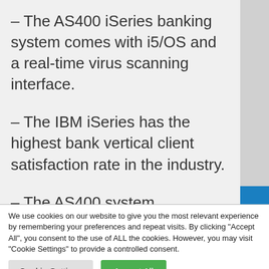– The AS400 iSeries banking system comes with i5/OS and a real-time virus scanning interface.
– The IBM iSeries has the highest bank vertical client satisfaction rate in the industry.
– The AS400 system vigorously protects the user investments and
We use cookies on our website to give you the most relevant experience by remembering your preferences and repeat visits. By clicking "Accept All", you consent to the use of ALL the cookies. However, you may visit "Cookie Settings" to provide a controlled consent.
Cookie Settings | Accept All